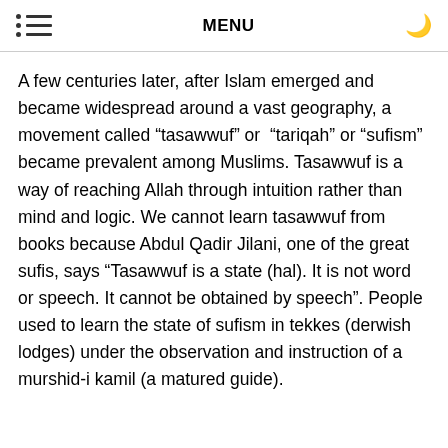MENU
A few centuries later, after Islam emerged and became widespread around a vast geography, a movement called “tasawwuf” or “tariqah” or “sufism” became prevalent among Muslims. Tasawwuf is a way of reaching Allah through intuition rather than mind and logic. We cannot learn tasawwuf from books because Abdul Qadir Jilani, one of the great sufis, says “Tasawwuf is a state (hal). It is not word or speech. It cannot be obtained by speech”. People used to learn the state of sufism in tekkes (derwish lodges) under the observation and instruction of a murshid-i kamil (a matured guide).